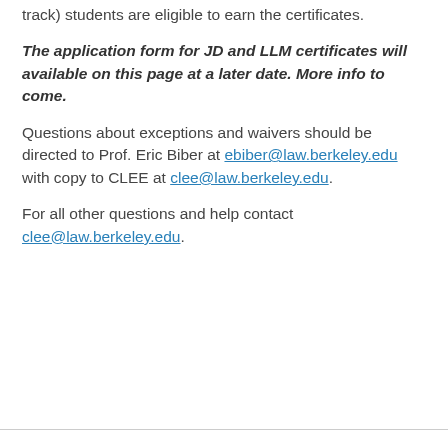track) students are eligible to earn the certificates.
The application form for JD and LLM certificates will available on this page at a later date. More info to come.
Questions about exceptions and waivers should be directed to Prof. Eric Biber at ebiber@law.berkeley.edu with copy to CLEE at clee@law.berkeley.edu.
For all other questions and help contact clee@law.berkeley.edu.